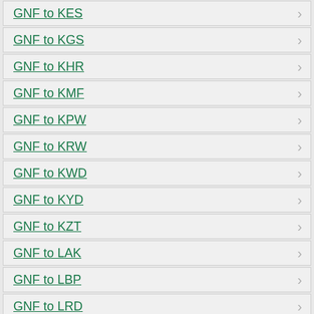GNF to KES
GNF to KGS
GNF to KHR
GNF to KMF
GNF to KPW
GNF to KRW
GNF to KWD
GNF to KYD
GNF to KZT
GNF to LAK
GNF to LBP
GNF to LRD